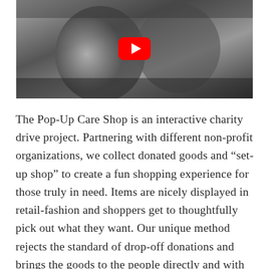[Figure (photo): Black and white photo of two people hugging and smiling, with a YouTube play button overlay in the center.]
The Pop-Up Care Shop is an interactive charity drive project. Partnering with different non-profit organizations, we collect donated goods and “set-up shop” to create a fun shopping experience for those truly in need. Items are nicely displayed in retail-fashion and shoppers get to thoughtfully pick out what they want. Our unique method rejects the standard of drop-off donations and brings the goods to the people directly and with